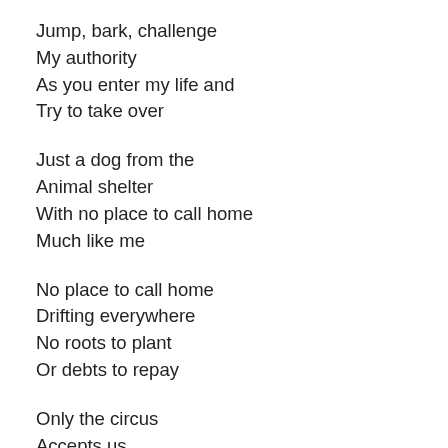Jump, bark, challenge
My authority
As you enter my life and
Try to take over
Just a dog from the
Animal shelter
With no place to call home
Much like me
No place to call home
Drifting everywhere
No roots to plant
Or debts to repay
Only the circus
Accepts us